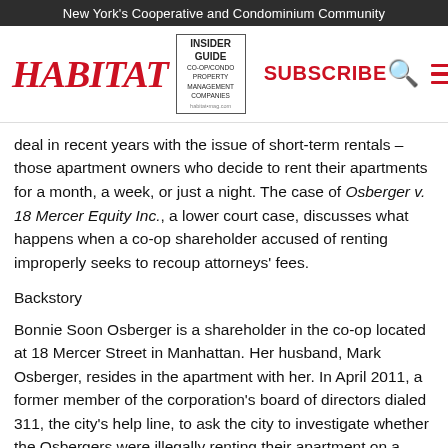New York's Cooperative and Condominium Community
deal in recent years with the issue of short-term rentals – those apartment owners who decide to rent their apartments for a month, a week, or just a night. The case of Osberger v. 18 Mercer Equity Inc., a lower court case, discusses what happens when a co-op shareholder accused of renting improperly seeks to recoup attorneys' fees.
Backstory
Bonnie Soon Osberger is a shareholder in the co-op located at 18 Mercer Street in Manhattan. Her husband, Mark Osberger, resides in the apartment with her. In April 2011, a former member of the corporation's board of directors dialed 311, the city's help line, to ask the city to investigate whether the Osbergers were illegally renting their apartment on a short-term basis. The city inspected and no violations were issued. However, the former board member was told by the city inspectors to call 311 again if he thought there were